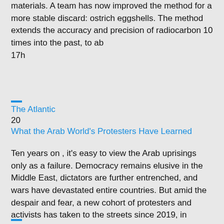materials. A team has now improved the method for a more stable discard: ostrich eggshells. The method extends the accuracy and precision of radiocarbon 10 times into the past, to ab
17h
The Atlantic
20
What the Arab World's Protesters Have Learned
Ten years on , it's easy to view the Arab uprisings only as a failure. Democracy remains elusive in the Middle East, dictators are further entrenched, and wars have devastated entire countries. But amid the despair and fear, a new cohort of protesters and activists has taken to the streets since 2019, in places such as Iraq, Sudan , and Lebanon. This new generation has learned a key lesson from t
3h